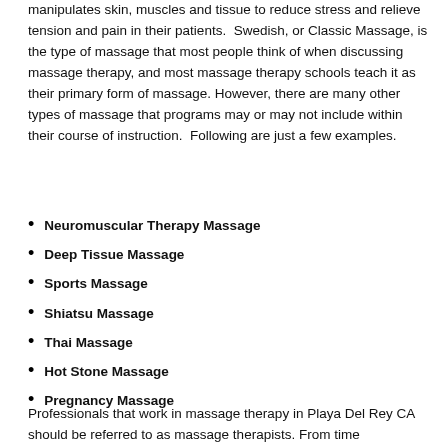manipulates skin, muscles and tissue to reduce stress and relieve tension and pain in their patients.  Swedish, or Classic Massage, is the type of massage that most people think of when discussing massage therapy, and most massage therapy schools teach it as their primary form of massage. However, there are many other types of massage that programs may or may not include within their course of instruction.  Following are just a few examples.
Neuromuscular Therapy Massage
Deep Tissue Massage
Sports Massage
Shiatsu Massage
Thai Massage
Hot Stone Massage
Pregnancy Massage
Professionals that work in massage therapy in Playa Del Rey CA should be referred to as massage therapists.  From time